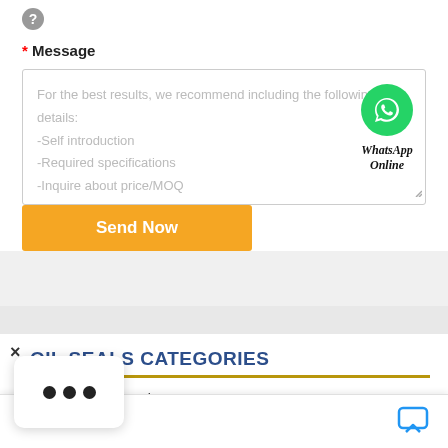[Figure (screenshot): Question mark icon (gray circle with ? symbol)]
* Message
For the best results, we recommend including the following details:
-Self introduction
-Required specifications
-Inquire about price/MOQ
[Figure (logo): WhatsApp green circular icon with phone handset]
WhatsApp Online
Send Now
× (close button)
OIL SEALS CATEGORIES
Cr Industries Seals
Chat now